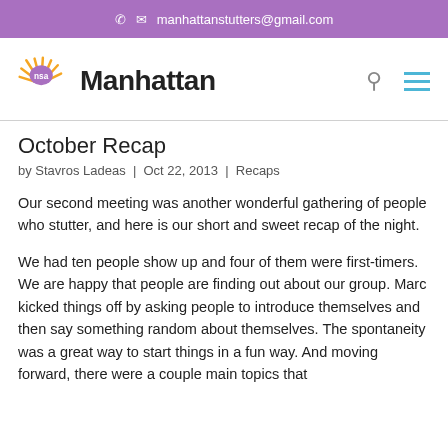manhattanstutters@gmail.com
[Figure (logo): NSA Manhattan logo with sunburst graphic and bold text 'Manhattan']
October Recap
by Stavros Ladeas  |  Oct 22, 2013  |  Recaps
Our second meeting was another wonderful gathering of people who stutter, and here is our short and sweet recap of the night.
We had ten people show up and four of them were first-timers. We are happy that people are finding out about our group. Marc kicked things off by asking people to introduce themselves and then say something random about themselves. The spontaneity was a great way to start things in a fun way. And moving forward, there were a couple main topics that